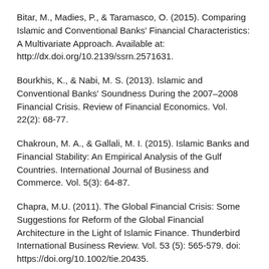Bitar, M., Madies, P., & Taramasco, O. (2015). Comparing Islamic and Conventional Banks' Financial Characteristics: A Multivariate Approach. Available at: http://dx.doi.org/10.2139/ssrn.2571631.
Bourkhis, K., & Nabi, M. S. (2013). Islamic and Conventional Banks' Soundness During the 2007–2008 Financial Crisis. Review of Financial Economics. Vol. 22(2): 68-77.
Chakroun, M. A., & Gallali, M. I. (2015). Islamic Banks and Financial Stability: An Empirical Analysis of the Gulf Countries. International Journal of Business and Commerce. Vol. 5(3): 64-87.
Chapra, M.U. (2011). The Global Financial Crisis: Some Suggestions for Reform of the Global Financial Architecture in the Light of Islamic Finance. Thunderbird International Business Review. Vol. 53 (5): 565-579. doi: https://doi.org/10.1002/tie.20435.
Chong, B. S., & Liu, M. H. (2009). Islamic Banking: Interest-Free or Interest-Based. Pacific Basin Finance Journal. Vol.